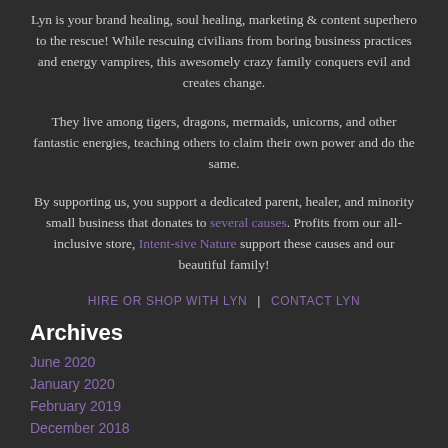Lyn is your brand healing, soul healing, marketing & content superhero to the rescue! While rescuing civilians from boring business practices and energy vampires, this awesomely crazy family conquers evil and creates change.
They live among tigers, dragons, mermaids, unicorns, and other fantastic energies, teaching others to claim their own power and do the same.
By supporting us, you support a dedicated parent, healer, and minority small business that donates to several causes. Profits from our all-inclusive store, Intent-sive Nature support these causes and our beautiful family!
HIRE OR SHOP WITH LYN | CONTACT LYN
Archives
June 2020
January 2020
February 2019
December 2018